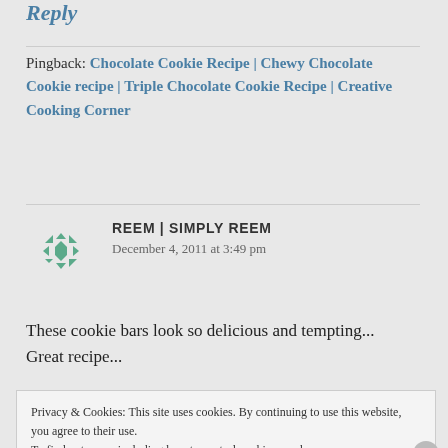Reply
Pingback: Chocolate Cookie Recipe | Chewy Chocolate Cookie recipe | Triple Chocolate Cookie Recipe | Creative Cooking Corner
REEM | SIMPLY REEM
December 4, 2011 at 3:49 pm
These cookie bars look so delicious and tempting... Great recipe...
Privacy & Cookies: This site uses cookies. By continuing to use this website, you agree to their use.
To find out more, including how to control cookies, see here: Cookie Policy
Close and accept